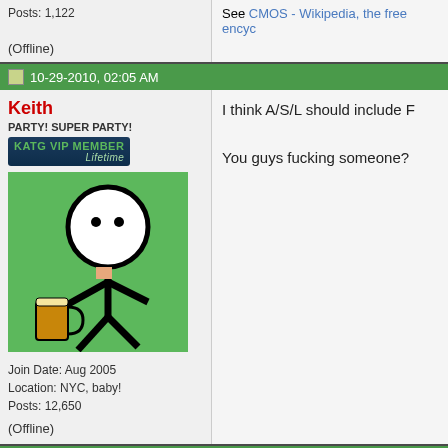Posts: 1,122
(Offline)
See CMOS - Wikipedia, the free encyc...
10-29-2010, 02:05 AM
Keith
PARTY! SUPER PARTY!
KATG VIP MEMBER Lifetime
Join Date: Aug 2005
Location: NYC, baby!
Posts: 12,650
(Offline)
[Figure (illustration): Stick figure avatar on green background holding a beer mug]
I think A/S/L should include F

You guys fucking someone?
10-29-2010, 02:39 AM
DWarrior
Senior Member
Quote: